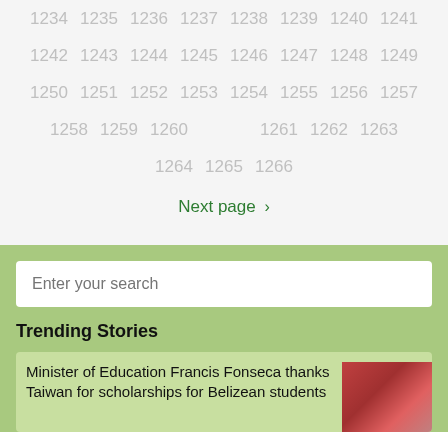1234 1235 1236 1237 1238 1239 1240 1241 1242
1243 1244 1245 1246 1247 1248 1249 1250 1251
1252 1253 1254 1255 1256 1257 1258 1259 1260
1261 1262 1263 1264 1265 1266
Next page ›
Enter your search
Trending Stories
Minister of Education Francis Fonseca thanks Taiwan for scholarships for Belizean students